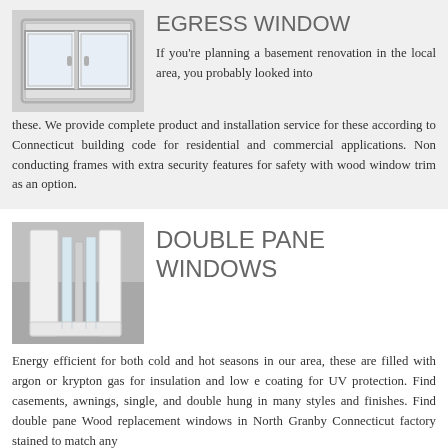[Figure (illustration): Egress window photo showing a white framed sliding window with two panes, light gray background]
EGRESS WINDOW
If you’re planning a basement renovation in the local area, you probably looked into these. We provide complete product and installation service for these according to Connecticut building code for residential and commercial applications. Non conducting frames with extra security features for safety with wood window trim as an option.
[Figure (illustration): Double pane window cross-section photo showing layers of glass and frame, gray background]
DOUBLE PANE WINDOWS
Energy efficient for both cold and hot seasons in our area, these are filled with argon or krypton gas for insulation and low e coating for UV protection. Find casements, awnings, single, and double hung in many styles and finishes. Find double pane Wood replacement windows in North Granby Connecticut factory stained to match any